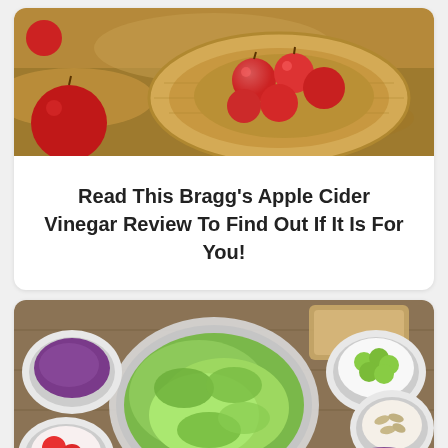[Figure (photo): Red apples in a straw hat on dried leaves, overhead view]
Read This Bragg's Apple Cider Vinegar Review To Find Out If It Is For You!
[Figure (photo): Overhead view of a salad spread with green leafy salad in a glass bowl surrounded by bowls of red cabbage, strawberries, blueberries, grapes, seeds, and other toppings on a wooden table]